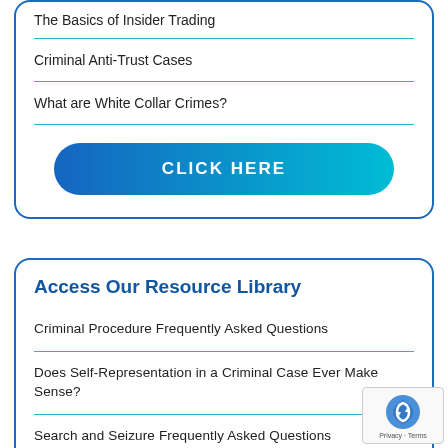The Basics of Insider Trading
Criminal Anti-Trust Cases
What are White Collar Crimes?
CLICK HERE
Access Our Resource Library
Criminal Procedure Frequently Asked Questions
Does Self-Representation in a Criminal Case Ever Make Sense?
Search and Seizure Frequently Asked Questions
Sentencing Frequently Asked Questions